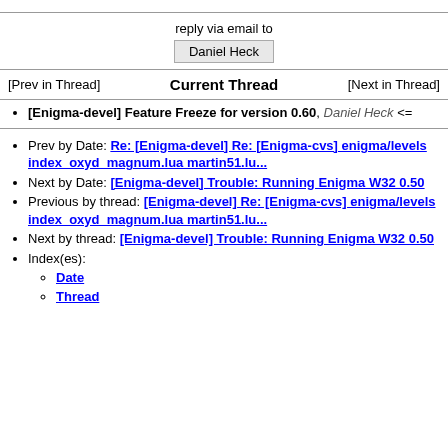reply via email to
Daniel Heck
[Prev in Thread]    Current Thread    [Next in Thread]
[Enigma-devel] Feature Freeze for version 0.60, Daniel Heck <=
Prev by Date: Re: [Enigma-devel] Re: [Enigma-cvs] enigma/levels index_oxyd_magnum.lua martin51.lu...
Next by Date: [Enigma-devel] Trouble: Running Enigma W32 0.50
Previous by thread: [Enigma-devel] Re: [Enigma-cvs] enigma/levels index_oxyd_magnum.lua martin51.lu...
Next by thread: [Enigma-devel] Trouble: Running Enigma W32 0.50
Index(es):
Date
Thread